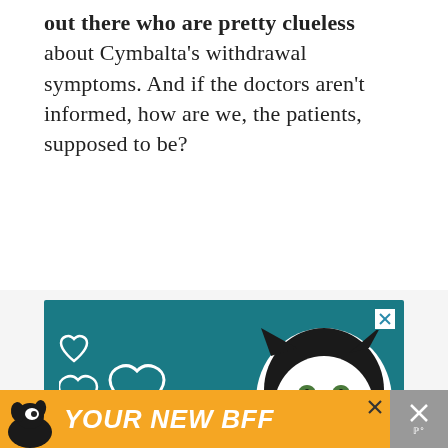out there who are pretty clueless about Cymbalta's withdrawal symptoms. And if the doctors aren't informed, how are we, the patients, supposed to be?
[Figure (photo): Advertisement image with teal background showing a cat face, heart outlines, and text reading 'BEST FRIENDS FOREVER' in large white italic font. A small close (X) button appears in the upper right corner.]
[Figure (photo): Bottom banner advertisement with orange background showing a dog silhouette and text 'YOUR NEW BFF' in white italic font, with a close button and grey area with X on the right.]